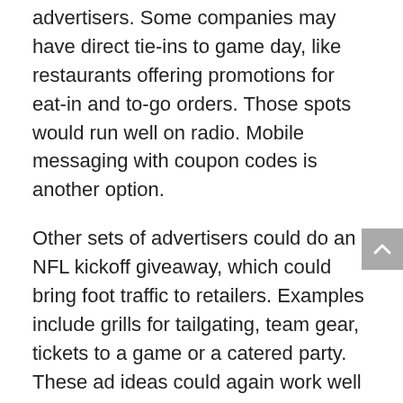advertisers. Some companies may have direct tie-ins to game day, like restaurants offering promotions for eat-in and to-go orders. Those spots would run well on radio. Mobile messaging with coupon codes is another option.
Other sets of advertisers could do an NFL kickoff giveaway, which could bring foot traffic to retailers. Examples include grills for tailgating, team gear, tickets to a game or a catered party. These ad ideas could again work well on radio. TV may be another option to run during the games if the contest is ongoing. Geotargeted digital ads are another channel — you can target those consumers nearest the location.
If the NFL isn't that big in your area, college football